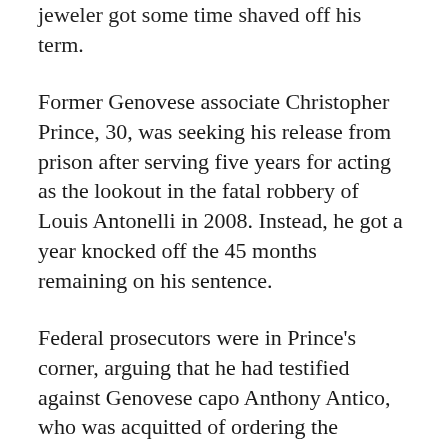jeweler got some time shaved off his term.
Former Genovese associate Christopher Prince, 30, was seeking his release from prison after serving five years for acting as the lookout in the fatal robbery of Louis Antonelli in 2008. Instead, he got a year knocked off the 45 months remaining on his sentence.
Federal prosecutors were in Prince's corner, arguing that he had testified against Genovese capo Anthony Antico, who was acquitted of ordering the robbery. Prince was also prepared to testify against Colombo mob bigshot Michael Persico before he pleaded guilty to a deal of the century offered by the government.
Meanwhile, Prince was slapped with more jail time than more murderous mob rats like Bonanno heavyweights Salvatore Vitale, who has 11 murders